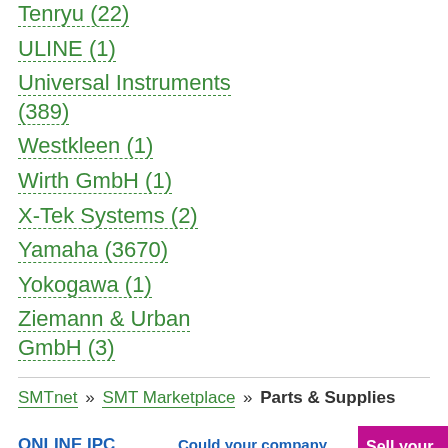Tenryu (22)
ULINE (1)
Universal Instruments (389)
Westkleen (1)
Wirth GmbH (1)
X-Tek Systems (2)
Yamaha (3670)
Yokogawa (1)
Ziemann & Urban GmbH (3)
SMTnet » SMT Marketplace » Parts & Supplies
ONLINE IPC Training & Certification
Could your company use some $$$? Let Baja Bid turn your EXCESS ASSETS in to some much needed cash!
Sell your surplus machinery!!! We buy all types of